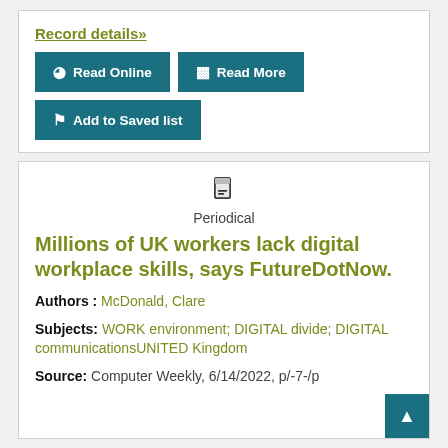Record details»
Read Online
Read More
Add to Saved list
Periodical
Millions of UK workers lack digital workplace skills, says FutureDotNow.
Authors : McDonald, Clare
Subjects: WORK environment; DIGITAL divide; DIGITAL communicationsUNITED Kingdom
Source: Computer Weekly, 6/14/2022, p/-7-/p